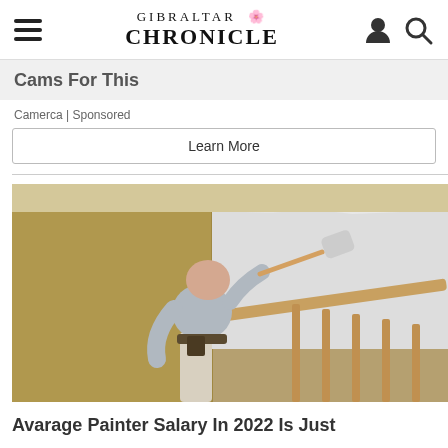GIBRALTAR CHRONICLE
Cams For This
Camerca | Sponsored
Learn More
[Figure (photo): A man painting a wall white using a paint roller on an extension pole, standing in a corner room with tan/brown walls and a wooden railing visible.]
Avarage Painter Salary In 2022 Is Just